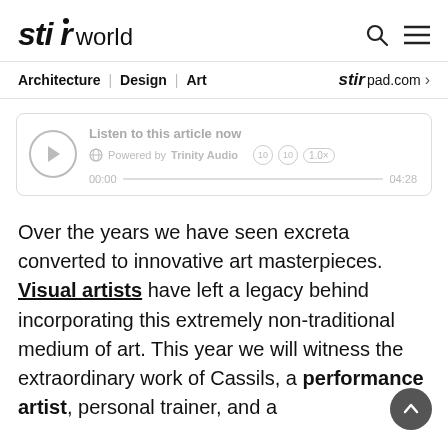stir world  Architecture | Design | Art  stir pad.com
[Figure (screenshot): Audio player widget: play button, 'Listen to this article now', Powered by Trinity Audio, controls, progress bar 00:00 to 04:28]
Over the years we have seen excreta converted to innovative art masterpieces. Visual artists have left a legacy behind incorporating this extremely non-traditional medium of art. This year we will witness the extraordinary work of Cassils, a performance artist, personal trainer, and a